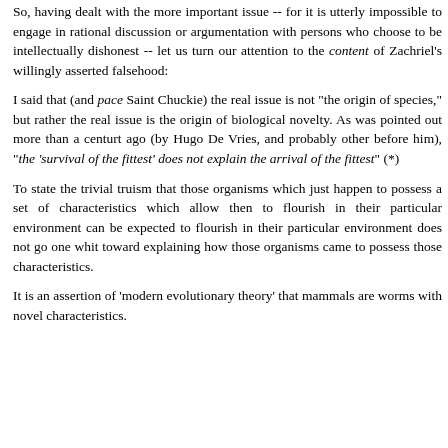So, having dealt with the more important issue -- for it is utterly impossible to engage in rational discussion or argumentation with persons who choose to be intellectually dishonest -- let us turn our attention to the content of Zachriel's willingly asserted falsehood:
I said that (and pace Saint Chuckie) the real issue is not "the origin of species," but rather the real issue is the origin of biological novelty. As was pointed out more than a centurt ago (by Hugo De Vries, and probably other before him), "the 'survival of the fittest' does not explain the arrival of the fittest" (*)
To state the trivial truism that those organisms which just happen to possess a set of characteristics which allow then to flourish in their particular environment can be expected to flourish in their particular environment does not go one whit toward explaining how those organisms came to possess those characteristics.
It is an assertion of 'modern evolutionary theory' that mammals are worms with novel characteristics.